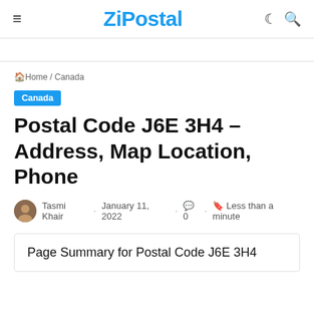ZiPostal
Home / Canada
Canada
Postal Code J6E 3H4 – Address, Map Location, Phone
Tasmi Khair · January 11, 2022 · 0 · Less than a minute
Page Summary for Postal Code J6E 3H4